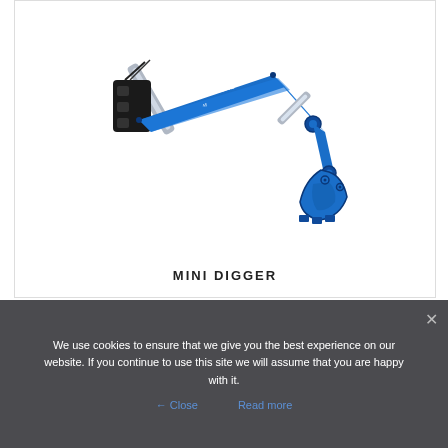[Figure (photo): Blue mini digger / backhoe attachment arm with bucket, set against white background. Text on arm reads MINI BACKHOE.]
MINI DIGGER
We use cookies to ensure that we give you the best experience on our website. If you continue to use this site we will assume that you are happy with it.
Close   Read more